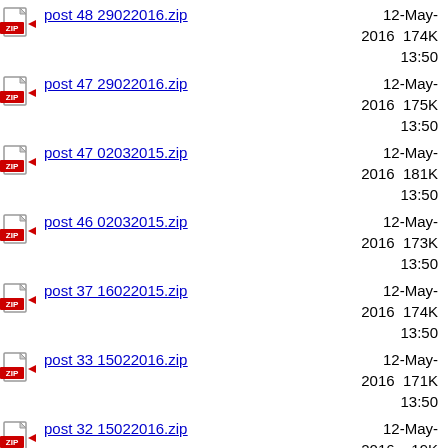post 48 29022016.zip  12-May-2016 174K 13:50
post 47 29022016.zip  12-May-2016 175K 13:50
post 47 02032015.zip  12-May-2016 181K 13:50
post 46 02032015.zip  12-May-2016 173K 13:50
post 37 16022015.zip  12-May-2016 174K 13:50
post 33 15022016.zip  12-May-2016 171K 13:50
post 32 15022016.zip  12-May-2016  19K 13:50
post 29 02022015.zip  12-May-2016 176K 13:50